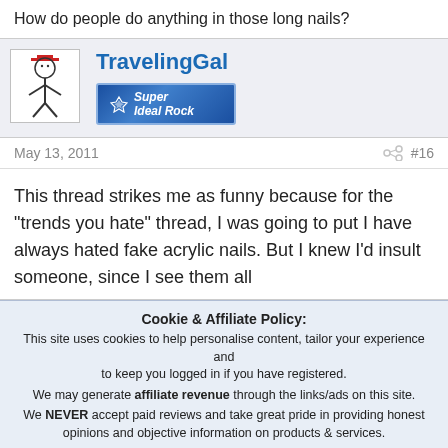How do people do anything in those long nails?
TravelingGal
[Figure (illustration): Stick figure avatar with red hat]
[Figure (logo): Super Ideal Rock blue badge/banner]
May 13, 2011
#16
This thread strikes me as funny because for the "trends you hate" thread, I was going to put I have always hated fake acrylic nails. But I knew I'd insult someone, since I see them all
Cookie & Affiliate Policy:
This site uses cookies to help personalise content, tailor your experience and to keep you logged in if you have registered.
We may generate affiliate revenue through the links/ads on this site.
We NEVER accept paid reviews and take great pride in providing honest opinions and objective information on products & services.
By continuing to use this site, you are consenting to our use of cookie policy.
Accept
Learn more...